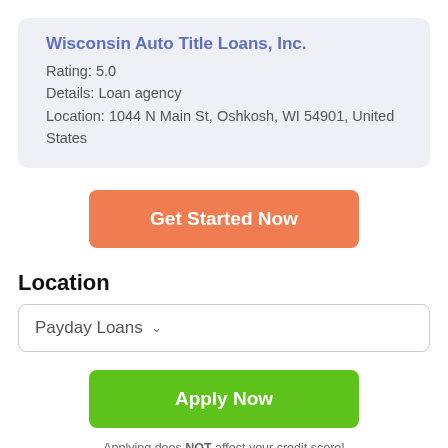Wisconsin Auto Title Loans, Inc.
Rating: 5.0
Details: Loan agency
Location: 1044 N Main St, Oshkosh, WI 54901, United States
Get Started Now
Location
Payday Loans
Apply Now
Applying does NOT affect your credit score!
No credit check to apply.